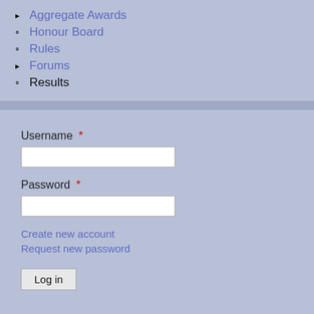▶ Aggregate Awards
○ Honour Board
○ Rules
▶ Forums
○ Results
Username *
Password *
Create new account
Request new password
Log in